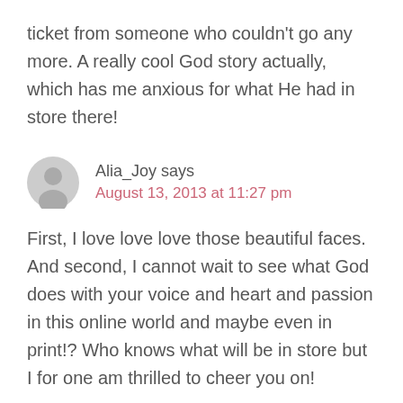ticket from someone who couldn't go any more. A really cool God story actually, which has me anxious for what He had in store there!
Alia_Joy says
August 13, 2013 at 11:27 pm
First, I love love love those beautiful faces. And second, I cannot wait to see what God does with your voice and heart and passion in this online world and maybe even in print!? Who knows what will be in store but I for one am thrilled to cheer you on!